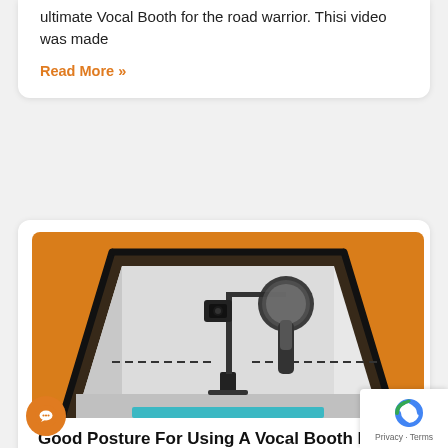ultimate Vocal Booth for the road warrior. Thisi video was made
Read More »
[Figure (photo): Interior of a Carry-on Vocal Booth showing a microphone with pop filter mounted on a stand inside the padded enclosure with an orange background]
Good Posture For Using A Vocal Booth like the Carry-on Vocal Booth
January 3, 2019
by Dr. Ann Utterback, AVoiceDoc One thing to keep in